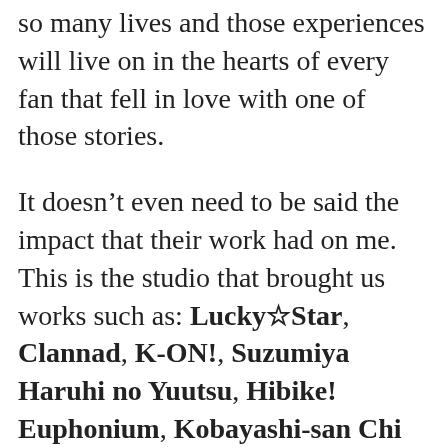so many lives and those experiences will live on in the hearts of every fan that fell in love with one of those stories.
It doesn't even need to be said the impact that their work had on me. This is the studio that brought us works such as: Lucky☆Star, Clannad, K-ON!, Suzumiya Haruhi no Yuutsu, Hibike! Euphonium, Kobayashi-san Chi no Maid Dragon, Violet Evergarden, and the list goes on and on. Even those that weren't fans specifically of the shows KyoAni put out can appreciate the mark they've left on the industry. I'm with the #PrayForKyoani hashtag being used on twitter. Whether it is finding a place to donate